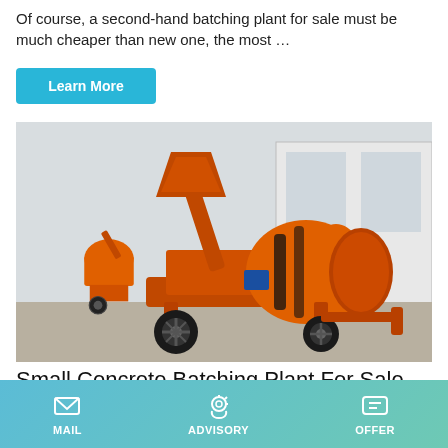Of course, a second-hand batching plant for sale must be much cheaper than new one, the most …
Learn More
[Figure (photo): Orange concrete mixer / small concrete batching plant on wheels, photographed outdoors in front of a warehouse building. An identical orange mixer is visible in the background on the left.]
Small Concrete Batching Plant For Sale - For Short And
MAIL   ADVISORY   OFFER